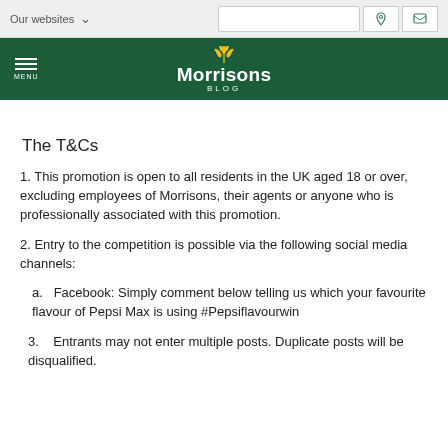Our websites  ∨  [search bar] [location icon] [chat icon]
[Figure (logo): Morrisons Blog logo on dark green navigation bar with hamburger menu on left]
The T&Cs
1. This promotion is open to all residents in the UK aged 18 or over, excluding employees of Morrisons, their agents or anyone who is professionally associated with this promotion.
2. Entry to the competition is possible via the following social media channels:
a.  Facebook: Simply comment below telling us which your favourite flavour of Pepsi Max is using #Pepsiflavourwin
3.  Entrants may not enter multiple posts. Duplicate posts will be disqualified.